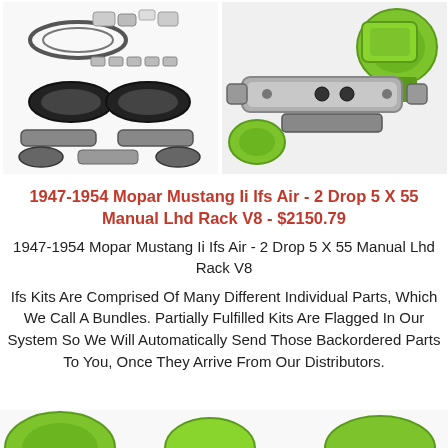[Figure (photo): Two product photos side by side: left shows disassembled suspension kit parts (white/black components on white background), right shows a green and silver assembled suspension/steering component.]
1947-1954 Mopar Mustang Ii Ifs Air - 2 Drop 5 X 55 Manual Lhd Rack V8 - $2150.79
1947-1954 Mopar Mustang Ii Ifs Air - 2 Drop 5 X 55 Manual Lhd Rack V8
Ifs Kits Are Comprised Of Many Different Individual Parts, Which We Call A Bundles. Partially Fulfilled Kits Are Flagged In Our System So We Will Automatically Send Those Backordered Parts To You, Once They Arrive From Our Distributors.
[Figure (photo): Partial view of green and silver suspension/steering parts visible at bottom of page.]